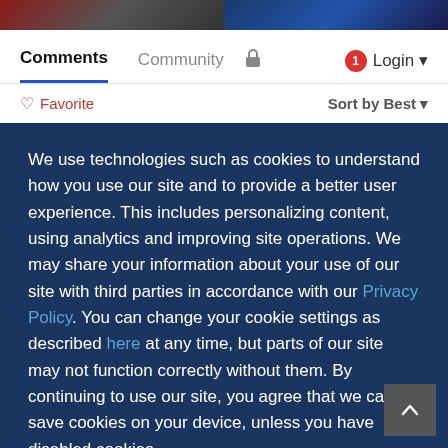[Figure (photo): Two thumbnail images side by side at top of page — left shows a person in dark red/grey tones, right shows blue digital/tech imagery]
Comments	Community	[lock icon]	[notification bubble: 1]	Login ▾
♡ Favorite					Sort by Best ▾
We use technologies such as cookies to understand how you use our site and to provide a better user experience. This includes personalizing content, using analytics and improving site operations. We may share your information about your use of our site with third parties in accordance with our Privacy Policy. You can change your cookie settings as described here at any time, but parts of our site may not function correctly without them. By continuing to use our site, you agree that we can save cookies on your device, unless you have disabled cookies.
I Accept